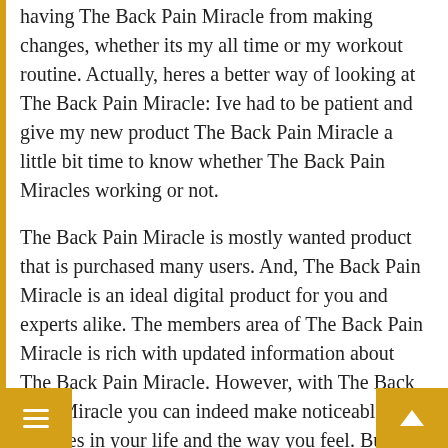having The Back Pain Miracle from making changes, whether its my all time or my workout routine. Actually, heres a better way of looking at The Back Pain Miracle: Ive had to be patient and give my new product The Back Pain Miracle a little bit time to know whether The Back Pain Miracles working or not.
The Back Pain Miracle is mostly wanted product that is purchased many users. And, The Back Pain Miracle is an ideal digital product for you and experts alike. The members area of The Back Pain Miracle is rich with updated information about The Back Pain Miracle. However, with The Back Pain Miracle you can indeed make noticeable changes in your life and the way you feel. But theres bigger picture here. The Back Pain Miracle for that time will become a part of your everyday life. And thats